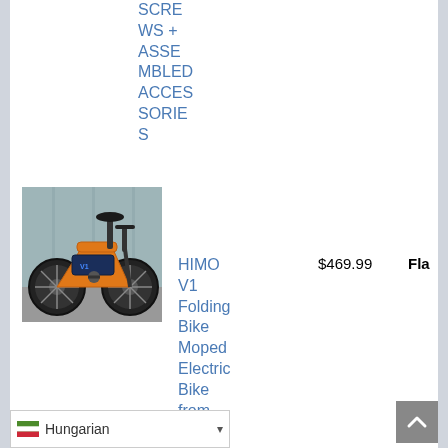SCREWS + ASSEMBLED ACCESSORIES
[Figure (photo): Orange HIMO V1 folding electric bike moped against a light blue background]
HIMO V1 Folding Bike Moped Electric Bike from Xiaomi
$469.99
Fla
Hungarian